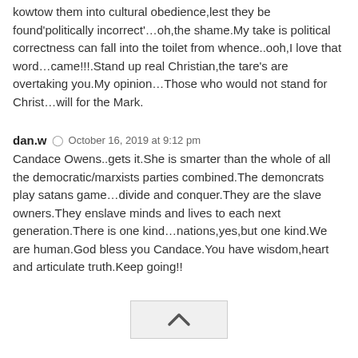kowtow them into cultural obedience,lest they be found'politically incorrect'…oh,the shame.My take is political correctness can fall into the toilet from whence..ooh,I love that word…came!!!.Stand up real Christian,the tare's are overtaking you.My opinion…Those who would not stand for Christ…will for the Mark.
dan.w  October 16, 2019 at 9:12 pm
Candace Owens..gets it.She is smarter than the whole of all the democratic/marxists parties combined.The demoncrats play satans game…divide and conquer.They are the slave owners.They enslave minds and lives to each next generation.There is one kind…nations,yes,but one kind.We are human.God bless you Candace.You have wisdom,heart and articulate truth.Keep going!!
[Figure (other): Back to top button with upward chevron arrow]